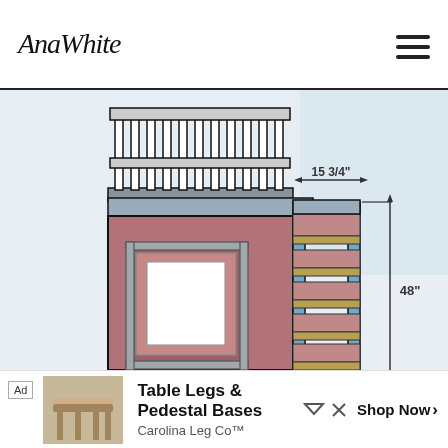AnaWhite
[Figure (engineering-diagram): Architectural/woodworking schematic of a loft bed with stairs. Shows front elevation view with a railing at top, a door opening in the middle-left structure, and stair steps on the right side. Dimension arrows show '15 3/4"' horizontal width measurement at the top right and '48"' vertical height measurement on the far right side. The structure uses mauve/pink coloring for main body, gray for trim and top surface, blue for stair stringers, and tan/olive for stair treads.]
Ad  Table Legs & Pedestal Bases  Carolina Leg Co™  Shop Now >